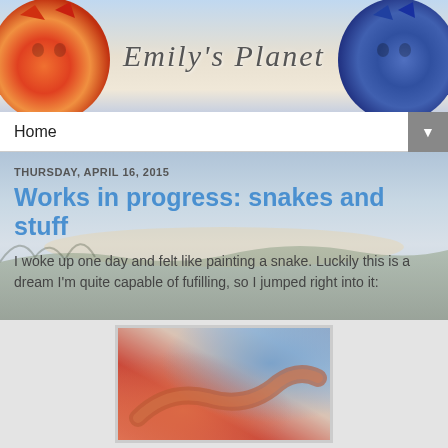[Figure (illustration): Blog header banner for 'Emily's Planet' with an orange/red cat on the left, a blue cat on the right, and cursive script text reading "Emily's Planet" in the center on a light sky background]
Home ▼
THURSDAY, APRIL 16, 2015
Works in progress: snakes and stuff
I woke up one day and felt like painting a snake. Luckily this is a dream I'm quite capable of fufilling, so I jumped right into it:
[Figure (photo): A painting in progress showing a snake, with warm orange/red tones on the lower left and cool blue/grey tones on the upper right, photographed on a light background]